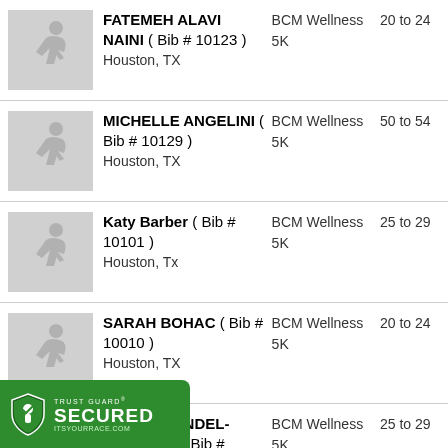FATEMEH ALAVI NAINI ( Bib # 10123 ) Houston, TX | BCM Wellness 5K | 20 to 24
MICHELLE ANGELINI ( Bib # 10129 ) Houston, TX | BCM Wellness 5K | 50 to 54
Katy Barber ( Bib # 10101 ) Houston, Tx | BCM Wellness 5K | 25 to 29
SARAH BOHAC ( Bib # 10010 ) Houston, TX | BCM Wellness 5K | 20 to 24
KATIE BRANDEL-ANKRAPP ( Bib # 10038 ) , TX | BCM Wellness 5K | 25 to 29
[Figure (logo): Trust Guard Secured badge with shield icon, green background, text: TRUST GUARD SECURED ITSYOURRACE.COM]